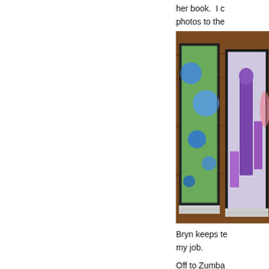her book.  I c photos to the
[Figure (photo): Photo of framed artworks or prints laid on a wooden surface, showing colorful paintings with blue dots and purple figures visible]
Bryn keeps te my job.
Off to Zumba
COMMENTS (0)